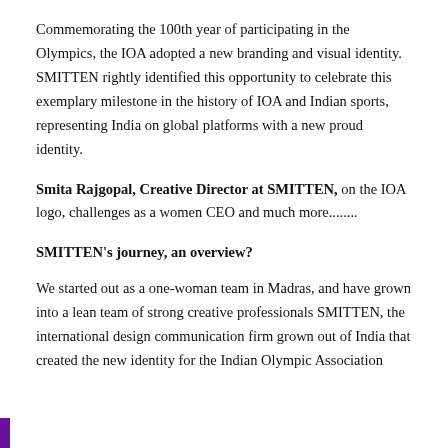Commemorating the 100th year of participating in the Olympics, the IOA adopted a new branding and visual identity. SMITTEN rightly identified this opportunity to celebrate this exemplary milestone in the history of IOA and Indian sports, representing India on global platforms with a new proud identity.
Smita Rajgopal, Creative Director at SMITTEN, on the IOA logo, challenges as a women CEO and much more........
SMITTEN's journey, an overview?
We started out as a one-woman team in Madras, and have grown into a lean team of strong creative professionals SMITTEN, the international design communication firm grown out of India that created the new identity for the Indian Olympic Association